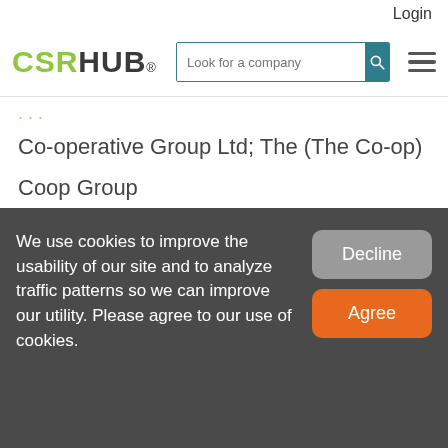Login
[Figure (logo): CSRHUB logo with search bar and hamburger menu]
Co-operative Group Ltd; The (The Co-op)
Coop Group
TAC INSURANCE GROUP ZAO
The Co-operative
We use cookies to improve the usability of our site and to analyze traffic patterns so we can improve our utility. Please agree to our use of cookies.